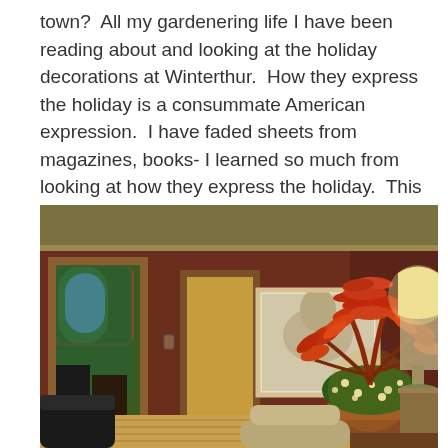town?  All my gardenering life I have been reading about and looking at the holiday decorations at Winterthur.  How they express the holiday is a consummate American expression.  I have faded sheets from magazines, books- I learned so much from looking at how they express the holiday.  This wreath, stuffed with every manner of an expression of green-juicy.  Classic.
[Figure (photo): Interior room with dark reddish-brown walls. Large floral arrangement with red/orange leaves and small warm lights in a round vase on the right. A framed artwork of a horse on the wall. Doorways visible on left leading to other rooms with green decor. Hardwood floor, lamp on right, leather seating on far left.]